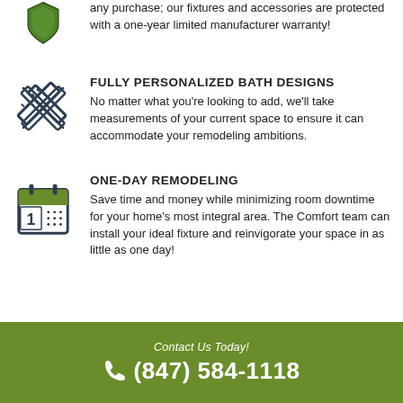any purchase; our fixtures and accessories are protected with a one-year limited manufacturer warranty!
[Figure (illustration): Crossed pencil and ruler icon in dark navy outline style]
FULLY PERSONALIZED BATH DESIGNS
No matter what you're looking to add, we'll take measurements of your current space to ensure it can accommodate your remodeling ambitions.
[Figure (illustration): Calendar icon with green header and number 1, dark navy outline style]
ONE-DAY REMODELING
Save time and money while minimizing room downtime for your home's most integral area. The Comfort team can install your ideal fixture and reinvigorate your space in as little as one day!
Contact Us Today! (847) 584-1118